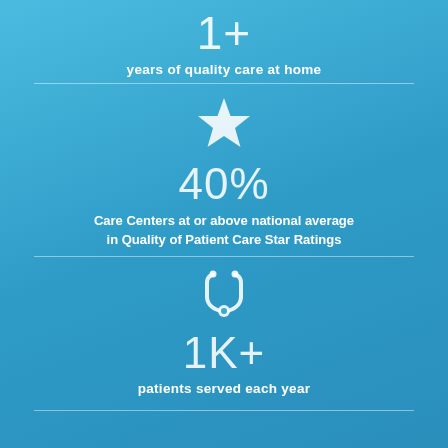[Figure (infographic): Infographic showing '1+' years of quality care at home with large number and label text on blue background]
[Figure (infographic): Infographic showing star icon, '40%' statistic, and text 'Care Centers at or above national average in Quality of Patient Care Star Ratings']
[Figure (infographic): Infographic showing stethoscope icon, '1K+' statistic, and text 'patients served each year']